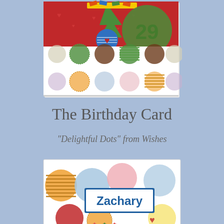[Figure (illustration): A colorful birthday card with polka dots, a green star/tree shape, a circular badge showing '29', colorful ribbons, and heart motifs on a red and white background]
The Birthday Card
"Delightful Dots" from Wishes
[Figure (illustration): A colorful birthday card with large polka dots in orange, blue, pink, red, yellow, and a blue-bordered label showing 'Zachary' in blue text, with small flower/star decorations at the bottom]